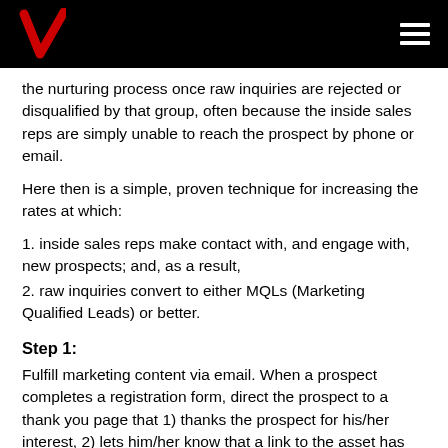[Figure (logo): Black header bar with red Verizon checkmark logo on the left and white hamburger menu icon on the right]
the nurturing process once raw inquiries are rejected or disqualified by that group, often because the inside sales reps are simply unable to reach the prospect by phone or email.
Here then is a simple, proven technique for increasing the rates at which:
1. inside sales reps make contact with, and engage with, new prospects; and, as a result,
2. raw inquiries convert to either MQLs (Marketing Qualified Leads) or better.
Step 1:
Fulfill marketing content via email. When a prospect completes a registration form, direct the prospect to a thank you page that 1) thanks the prospect for his/her interest, 2) lets him/her know that a link to the asset has been sent via email, and 3) presents additional offers or resources that he/she may find of interest. I discuss other compelling reasons to fulfill content via email in this earlier post.